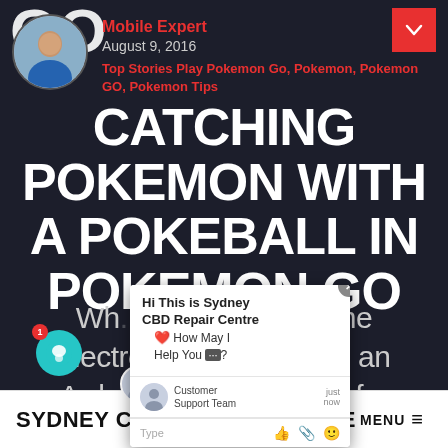GO
[Figure (photo): Circular avatar photo of a person in a blue jacket]
Mobile Expert
August 9, 2016
Top Stories  Play Pokemon Go, Pokemon, Pokemon GO, Pokemon Tips
CATCHING POKEMON WITH A POKEBALL IN POKEMON GO
Why... If you got some electronics knowledge, an Arduino and a passion for Pokemon GO then you're all
[Figure (screenshot): Chat widget overlay from Sydney CBD Repair Centre showing a bot message: Hi This is Sydney CBD Repair Centre ❤️ How May I Help You 💬? with Customer Support Team avatar and Type input bar]
SYDNEY CBD REPAIR CENTRE MENU ≡